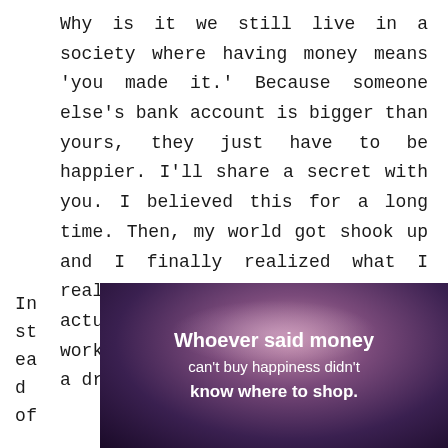Why is it we still live in a society where having money means 'you made it.' Because someone else's bank account is bigger than yours, they just have to be happier. I'll share a secret with you. I believed this for a long time. Then, my world got shook up and I finally realized what I really needed…and what could actually be in my reach if I worked at it. It didn't have to be a dream…it could be a reality.
Instead of
[Figure (illustration): Dark purple/pink gradient background image with white text quote: 'Whoever said money can't buy happiness didn't know where to shop.']